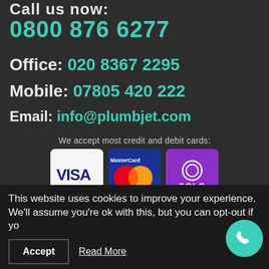Call us now:
0800 876 6277
Office: 020 8367 2295
Mobile: 07805 420 222
Email: info@plumbjet.com
We accept most credit and debit cards:
[Figure (illustration): Payment card logos: VISA (white card), MasterCard (dark blue card with red/orange circles), SOLO (purple card with circle logo)]
020 8367 2295 - 0800 876 6277
This website uses cookies to improve your experience. We'll assume you're ok with this, but you can opt-out if yo
Accept
Read More